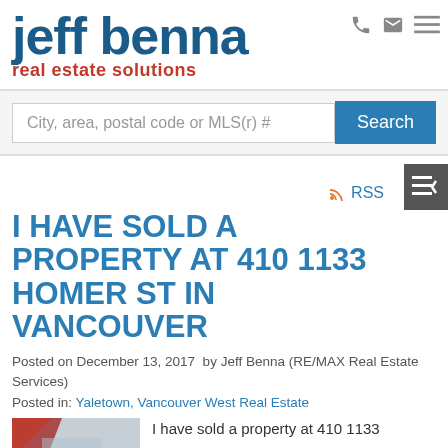jeff benna real estate solutions
City, area, postal code or MLS(r) # Search
I HAVE SOLD A PROPERTY AT 410 1133 HOMER ST IN VANCOUVER
Posted on December 13, 2017  by Jeff Benna (RE/MAX Real Estate Services)
Posted in: Yaletown, Vancouver West Real Estate
I have sold a property at 410 1133